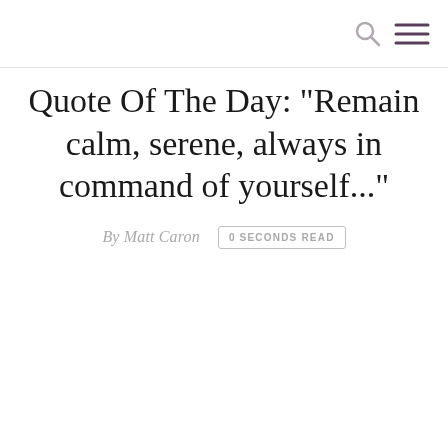Quote Of The Day: "Remain calm, serene, always in command of yourself..."
By Matt Caron   0 SECONDS READ